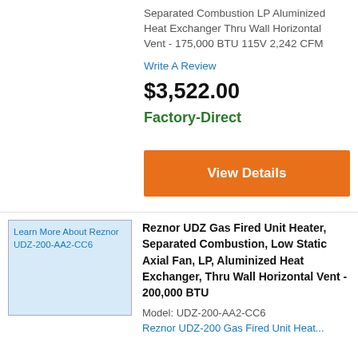Separated Combustion LP Aluminized Heat Exchanger Thru Wall Horizontal Vent - 175,000 BTU 115V 2,242 CFM
Write A Review
$3,522.00
Factory-Direct
View Details
[Figure (other): Product image placeholder for Reznor UDZ-200-AA2-CC6]
Reznor UDZ Gas Fired Unit Heater, Separated Combustion, Low Static Axial Fan, LP, Aluminized Heat Exchanger, Thru Wall Horizontal Vent - 200,000 BTU
Model: UDZ-200-AA2-CC6
Reznor UDZ-200 Gas Fired Unit Heat...